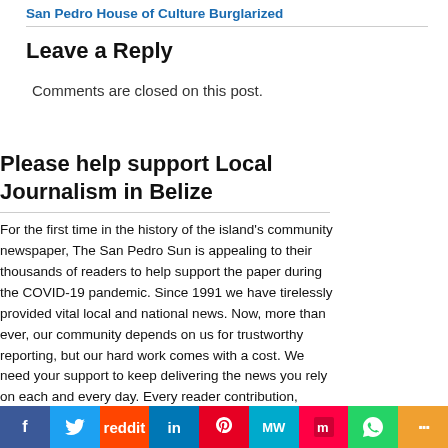San Pedro House of Culture Burglarized
Leave a Reply
Comments are closed on this post.
Please help support Local Journalism in Belize
For the first time in the history of the island's community newspaper, The San Pedro Sun is appealing to their thousands of readers to help support the paper during the COVID-19 pandemic. Since 1991 we have tirelessly provided vital local and national news. Now, more than ever, our community depends on us for trustworthy reporting, but our hard work comes with a cost. We need your support to keep delivering the news you rely on each and every day. Every reader contribution, however big or small, is so valuable. Please support us by making a contribution.